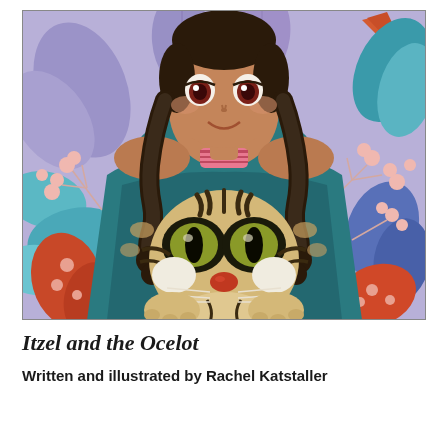[Figure (illustration): Book cover illustration showing a young girl with dark braids wearing a pink top and teal/dark green poncho or shawl, holding up the shawl to reveal an ocelot (wild cat) beneath. The background features colorful stylized leaves in purple, blue, teal, red/orange, pink berries on branches, and other botanical elements. The girl has large red-brown eyes and a warm smile. The ocelot has large dark eyes, spotted sandy fur with black markings, and is looking directly at the viewer.]
Itzel and the Ocelot
Written and illustrated by Rachel Katstaller